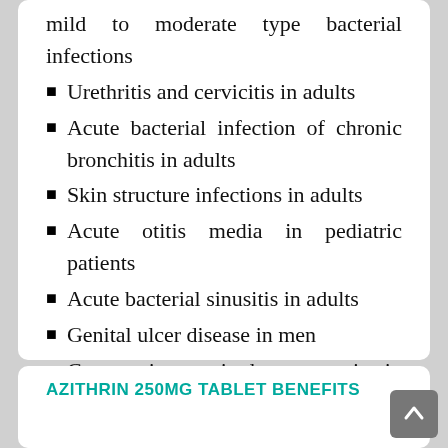mild to moderate type bacterial infections
Urethritis and cervicitis in adults
Acute bacterial infection of chronic bronchitis in adults
Skin structure infections in adults
Acute otitis media in pediatric patients
Acute bacterial sinusitis in adults
Genital ulcer disease in men
Community-acquired pneumonia in adults
AZITHRIN 250MG TABLET BENEFITS